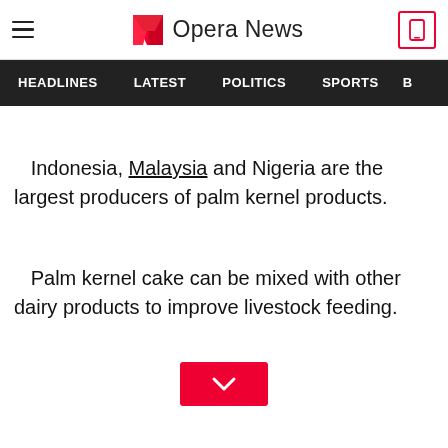Opera News
HEADLINES   LATEST   POLITICS   SPORTS
Indonesia, Malaysia and Nigeria are the largest producers of palm kernel products.
Palm kernel cake can be mixed with other dairy products to improve livestock feeding.